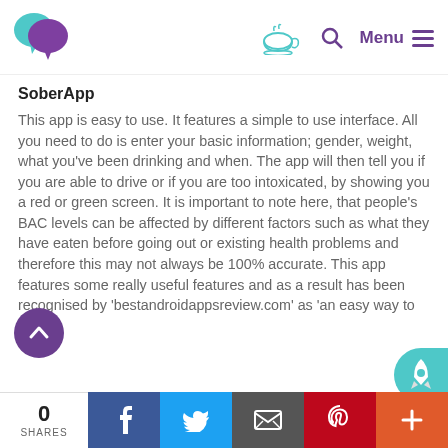SoberApp review page header with logo, tea cup icon, search icon, Menu
SoberApp
This app is easy to use. It features a simple to use interface. All you need to do is enter your basic information; gender, weight, what you've been drinking and when. The app will then tell you if you are able to drive or if you are too intoxicated, by showing you a red or green screen. It is important to note here, that people's BAC levels can be affected by different factors such as what they have eaten before going out or existing health problems and therefore this may not always be 100% accurate. This app features some really useful features and as a result has been recognised by 'bestandroidappsreview.com' as 'an easy way to
0 SHARES | Facebook | Twitter | Email | Pinterest | Plus